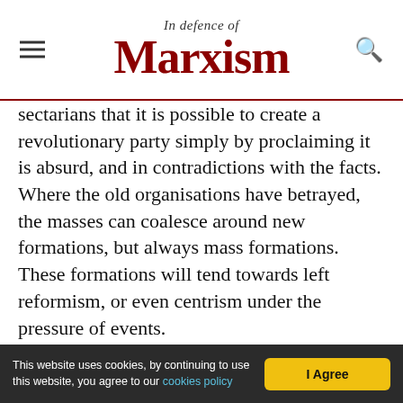In Defence of Marxism
sectarians that it is possible to create a revolutionary party simply by proclaiming it is absurd, and in contradictions with the facts. Where the old organisations have betrayed, the masses can coalesce around new formations, but always mass formations. These formations will tend towards left reformism, or even centrism under the pressure of events.
We must never forget that the difference between right- and left-reformism is only relative. The essence of reformism – whether of the right or left
This website uses cookies, by continuing to use this website, you agree to our cookies policy | I Agree